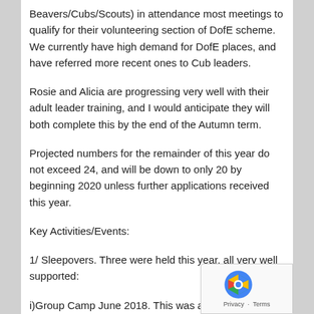Beavers/Cubs/Scouts) in attendance most meetings to qualify for their volunteering section of DofE scheme. We currently have high demand for DofE places, and have referred more recent ones to Cub leaders.
Rosie and Alicia are progressing very well with their adult leader training, and I would anticipate they will both complete this by the end of the Autumn term.
Projected numbers for the remainder of this year do not exceed 24, and will be down to only 20 by beginning 2020 unless further applications received this year.
Key Activities/Events:
1/ Sleepovers. Three were held this year, all very well supported:
i)Group Camp June 2018. This was a Group event with all BGH sections represented. In total 19 Beavers attended, participating in shelter building, rocket making &